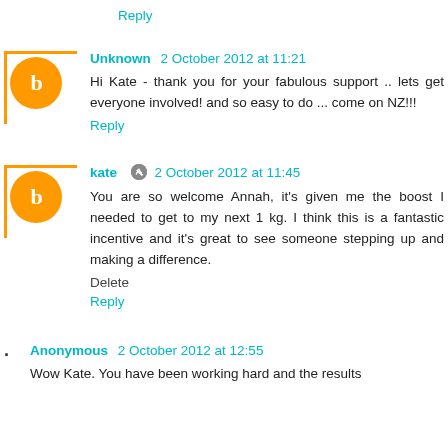Reply
Unknown 2 October 2012 at 11:21
Hi Kate - thank you for your fabulous support .. lets get everyone involved! and so easy to do ... come on NZ!!!
Reply
kate 2 October 2012 at 11:45
You are so welcome Annah, it's given me the boost I needed to get to my next 1 kg. I think this is a fantastic incentive and it's great to see someone stepping up and making a difference.
Delete
Reply
Anonymous 2 October 2012 at 12:55
Wow Kate. You have been working hard and the results